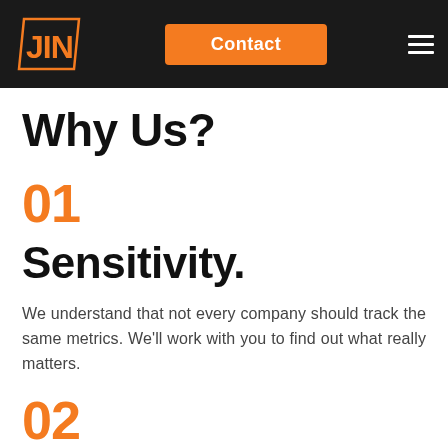JIN | Contact | Menu
Why Us?
01
Sensitivity.
We understand that not every company should track the same metrics. We'll work with you to find out what really matters.
02